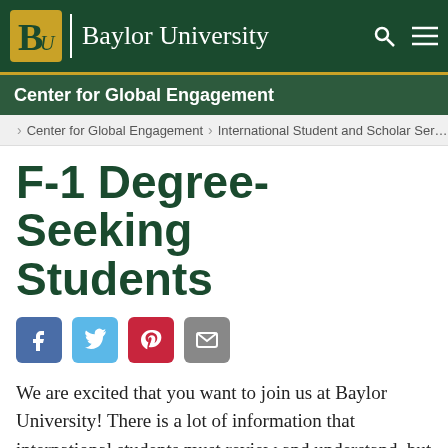Baylor University
Center for Global Engagement
Center for Global Engagement > International Student and Scholar Ser…
F-1 Degree-Seeking Students
[Figure (other): Social sharing buttons: Facebook, Twitter, Pinterest, Email]
We are excited that you want to join us at Baylor University!  There is a lot of information that international students must review and understand, but the International Student and Scholar Services staff will assist you with the process of getting your documents